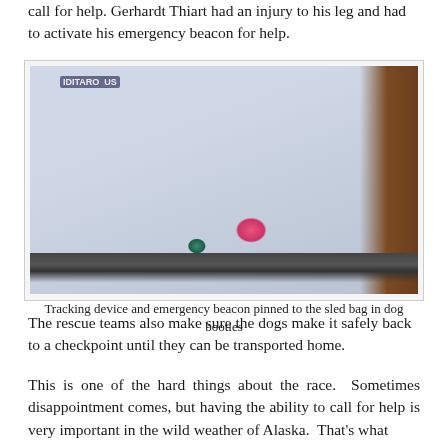call for help. Gerhardt Thiart had an injury to his leg and had to activate his emergency beacon for help.
[Figure (photo): A sled bag packed with gear, with a tracking device and emergency beacon pinned to it in dog booties (pink and teal colored). People in winter gear visible in background, snowy setting. An Iditarod logo/patch visible.]
Tracking device and emergency beacon pinned to the sled bag in dog booties
The rescue teams also make sure the dogs make it safely back to a checkpoint until they can be transported home.
This is one of the hard things about the race.  Sometimes disappointment comes, but having the ability to call for help is very important in the wild weather of Alaska.  That's what